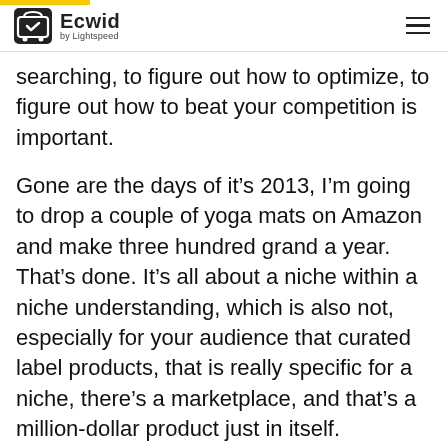Ecwid by Lightspeed
searching, to figure out how to optimize, to figure out how to beat your competition is important.
Gone are the days of it’s 2013, I’m going to drop a couple of yoga mats on Amazon and make three hundred grand a year. That’s done. It’s all about a niche within a niche understanding, which is also not, especially for your audience that curated label products, that is really specific for a niche, there’s a marketplace, and that’s a million-dollar product just in itself.